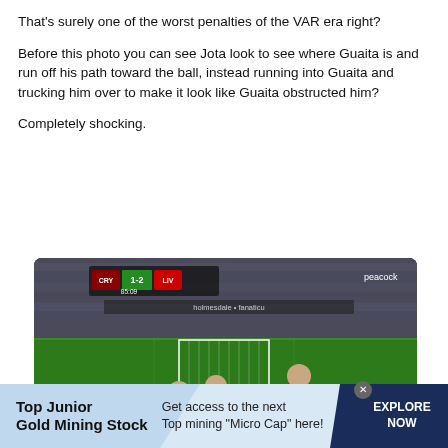That's surely one of the worst penalties of the VAR era right?
Before this photo you can see Jota look to see where Guaita is and run off his path toward the ball, instead running into Guaita and trucking him over to make it look like Guaita obstructed him?
Completely shocking.
[Figure (photo): Screenshot from a Peacock broadcast of a Premier League football match showing Crystal Palace vs Liverpool (CRY 1-2 LIV, 85:09). A player in a white/dark kit appears to collide with the goalkeeper in green kit near the ball, while a Crystal Palace player in red/blue kit stands nearby. Stadium crowd visible in background.]
Top Junior Gold Mining Stock | Get access to the next Top mining "Micro Cap" here! | EXPLORE NOW